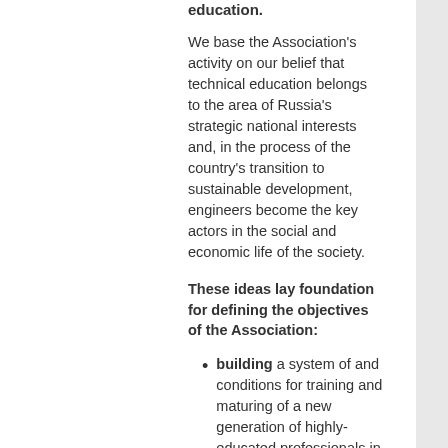education.
We base the Association's activity on our belief that technical education belongs to the area of Russia's strategic national interests and, in the process of the country's transition to sustainable development, engineers become the key actors in the social and economic life of the society.
These ideas lay foundation for defining the objectives of the Association:
building a system of and conditions for training and maturing of a new generation of highly-educated professionals in the engineering area capable of maintaining a stable dynamic development of economy and